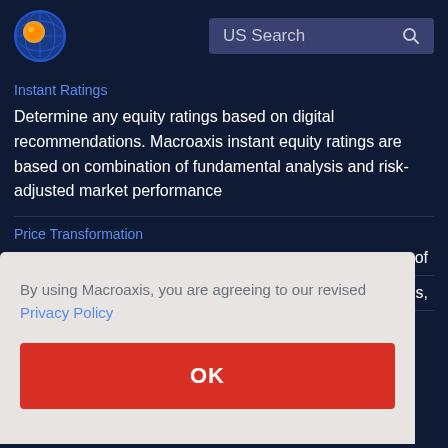[Figure (logo): Macroaxis logo: circular globe icon with orange and blue colors]
US Search
Instant Ratings
Determine any equity ratings based on digital recommendations. Macroaxis instant equity ratings are based on combination of fundamental analysis and risk-adjusted market performance
Price Transformation
of
nds,
By using Macroaxis, you are agreeing to our revised Privacy Policy
OK
Screen money managers from public funds and ETFs